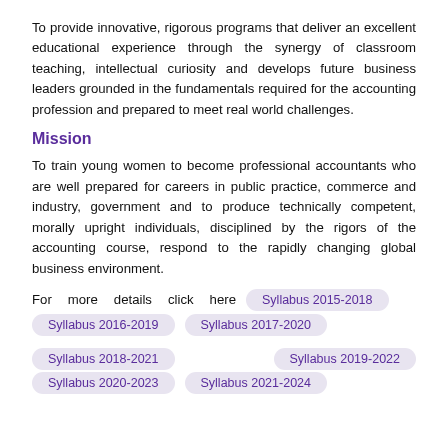To provide innovative, rigorous programs that deliver an excellent educational experience through the synergy of classroom teaching, intellectual curiosity and develops future business leaders grounded in the fundamentals required for the accounting profession and prepared to meet real world challenges.
Mission
To train young women to become professional accountants who are well prepared for careers in public practice, commerce and industry, government and to produce technically competent, morally upright individuals, disciplined by the rigors of the accounting course, respond to the rapidly changing global business environment.
For   more   details   click   here   Syllabus 2015-2018
Syllabus 2016-2019   Syllabus 2017-2020
Syllabus 2018-2021   Syllabus 2019-2022
Syllabus 2020-2023   Syllabus 2021-2024